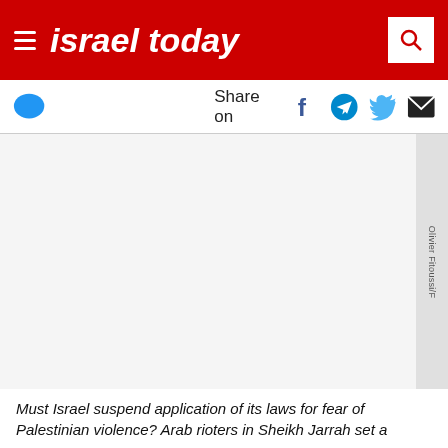israel today
Share on
[Figure (photo): Large photo area, appears blank/white - image not loaded]
Olivier Fitoussi/F... [vertical credit text on right side of image]
Must Israel suspend application of its laws for fear of Palestinian violence? Arab rioters in Sheikh Jarrah set a